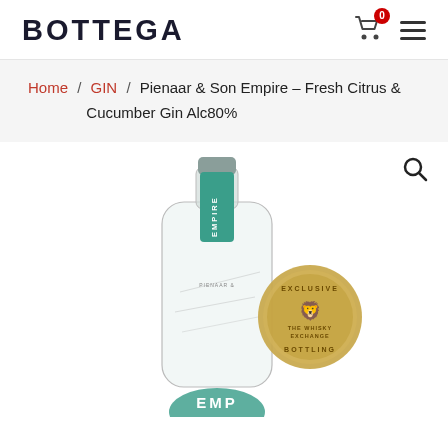BOTTEGA
Home / GIN / Pienaar & Son Empire – Fresh Citrus & Cucumber Gin Alc80%
[Figure (photo): Product photo of Pienaar & Son Empire Fresh Citrus & Cucumber Gin bottle with teal/green label reading EMPIRE vertically, and a gold Exclusive Bottling medallion from The Whisky Exchange. The bottle is clear glass showing botanical illustrations, with a teal circular label at the bottom reading EMP...]